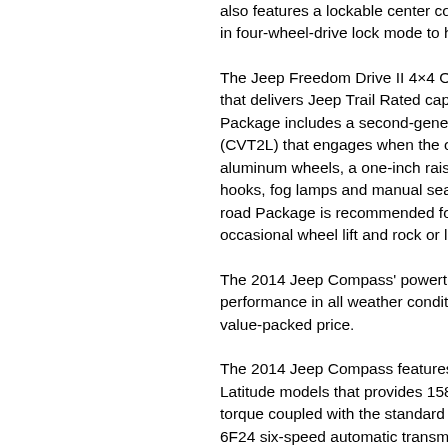also features a lockable center coupling, giving in four-wheel-drive lock mode to handle de...
The Jeep Freedom Drive II 4×4 Off-road Pa... that delivers Jeep Trail Rated capability in C... Package includes a second-generation con... (CVT2L) that engages when the off-road m... aluminum wheels, a one-inch raised ride he... hooks, fog lamps and manual seat height a... road Package is recommended for off-road... occasional wheel lift and rock or log climbin...
The 2014 Jeep Compass' powertrain optio... performance in all weather conditions, fuel ... value-packed price.
The 2014 Jeep Compass features a standa... Latitude models that provides 158 horsepo... torque coupled with the standard five-spee... 6F24 six-speed automatic transmission, an... highway when mated to the five-speed mar...
The proven 2.4-liter I-4 World Engine prod... (224 N•m) and is available on all models an... Engine has dual variable-valve timing (VVT... helps optimize the torque curve at all spee... economy and smoother, quieter operation t... technology typically not available on vehicl... Compass' price class. The Jeep Compass'... speed manual transaxle in front-wheel driv... 28 mpg on the highway.
Jeep Compass also features a standard fiv... Contoured lever mixing and to...